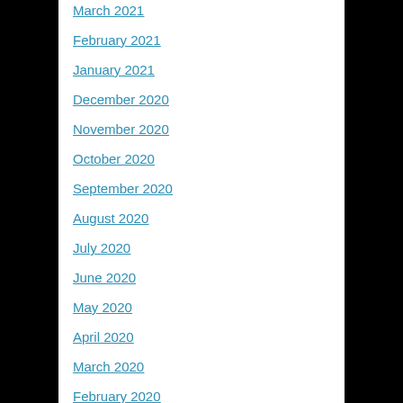March 2021
February 2021
January 2021
December 2020
November 2020
October 2020
September 2020
August 2020
July 2020
June 2020
May 2020
April 2020
March 2020
February 2020
January 2020
November 2019
October 2019